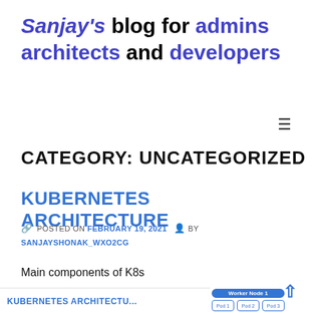Sanjay's blog for admins architects and developers
CATEGORY: UNCATEGORIZED
KUBERNETES ARCHITECTURE
POSTED ON FEBRUARY 19, 2021 BY SANJAYSHONAK_WXO2CG
Main components of K8s
[Figure (infographic): Partial view of a Kubernetes architecture diagram showing Worker Node 1 with Pod labels]